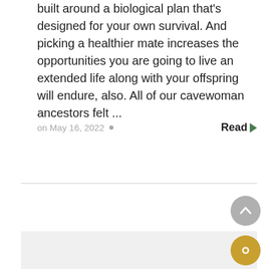built around a biological plan that's designed for your own survival. And picking a healthier mate increases the opportunities you are going to live an extended life along with your offspring will endure, also. All of our cavewoman ancestors felt ...
on May 16, 2022 •
Read ▶
[Figure (other): Gray content placeholder box at the bottom of the page]